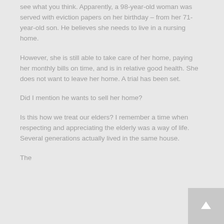see what you think. Apparently, a 98-year-old woman was served with eviction papers on her birthday – from her 71-year-old son. He believes she needs to live in a nursing home.
However, she is still able to take care of her home, paying her monthly bills on time, and is in relative good health. She does not want to leave her home. A trial has been set.
Did I mention he wants to sell her home?
Is this how we treat our elders? I remember a time when respecting and appreciating the elderly was a way of life. Several generations actually lived in the same house.
The...